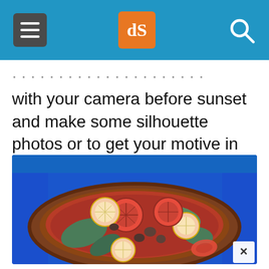dPS navigation header with menu, logo, and search icons
with your camera before sunset and make some silhouette photos or to get your motive in the best light.
[Figure (photo): A clay tajine dish filled with Moroccan-style stewed vegetables including red tomatoes, green peppers, lemon slices, and olives in red sauce, placed on a bright blue background.]